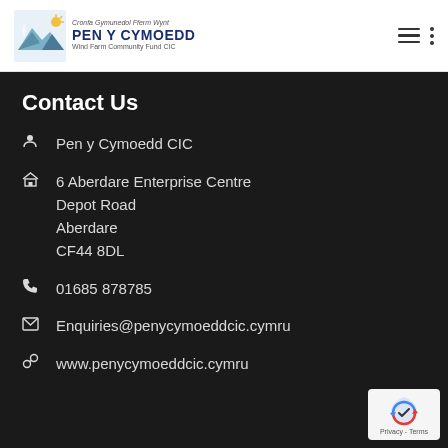Cronfa Gymunedol Fferm Wynt PEN Y CYMOEDD Wind Farm Community Fund CIC
Contact Us
Pen y Cymoedd CIC
6 Aberdare Enterprise Centre
Depot Road
Aberdare
CF44 8DL
01685 878785
Enquiries@penycymoeddcic.cymru
www.penycymoeddcic.cymru
[Figure (logo): Google reCAPTCHA privacy badge with shield icon and Privacy - Terms text]